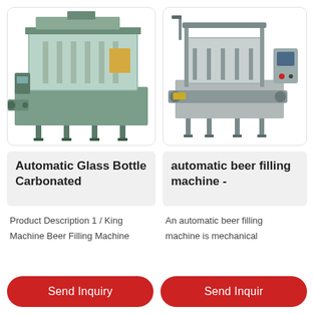[Figure (photo): Industrial automatic glass bottle carbonated beverage filling machine, stainless steel construction with glass panels, conveyor belt visible at left side.]
[Figure (photo): Automatic beer filling machine, stainless steel frame with control panel on right side, conveyor system visible.]
Automatic Glass Bottle Carbonated
automatic beer filling machine -
Product Description 1 / King Machine Beer Filling Machine
An automatic beer filling machine is mechanical
Send Inquiry
Send Inquiry